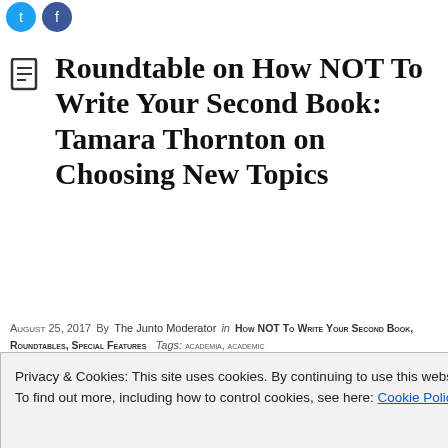[Figure (logo): Two social media icon circles (blue Twitter and Facebook icons) at top left]
Roundtable on How NOT To Write Your Second Book: Tamara Thornton on Choosing New Topics
August 25, 2017 By The Junto Moderator in How NOT To Write Your Second Book, Roundtables, Special Features Tags: academia, academic
Privacy & Cookies: This site uses cookies. By continuing to use this website, you agree to their use. To find out more, including how to control cookies, see here: Cookie Policy
Close and accept
(1989), Handwriting in America: A Cultural History (1996), and